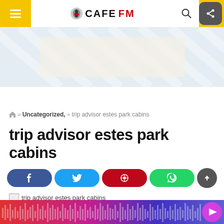CAFEFM
[Figure (other): Banner/advertisement area with diagonal stripe pattern in light blue and beige tones]
🏠 » Uncategorized, » trip advisor estes park cabins
trip advisor estes park cabins
[Figure (infographic): Social share buttons: Facebook (blue), Twitter (light blue), Pinterest (red), WhatsApp (green), and scroll-to-top (gray circle with up arrow)]
trip advisor estes park cabins
[Figure (other): Bottom audio player bar with colorful waveform visualization (red/blue/purple gradient) and pink play button]